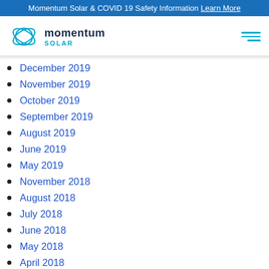Momentum Solar & COVID 19 Safety Information Learn More
[Figure (logo): Momentum Solar logo with circular orbit icon and company name]
December 2019
November 2019
October 2019
September 2019
August 2019
June 2019
May 2019
November 2018
August 2018
July 2018
June 2018
May 2018
April 2018